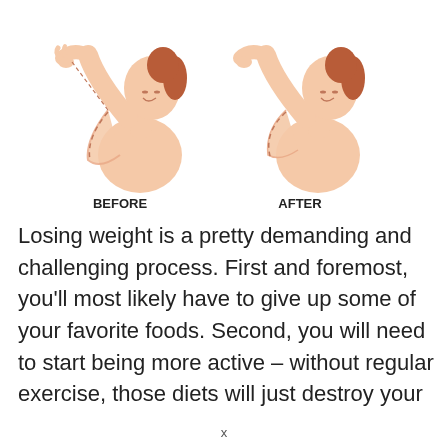[Figure (illustration): Two side-by-side medical illustrations of a woman flexing her arm. Left figure labeled BEFORE shows loose/excess skin hanging under the upper arm. Right figure labeled AFTER shows a toned, firm upper arm. Both figures show dashed lines indicating the area of change.]
BEFORE   AFTER
Losing weight is a pretty demanding and challenging process. First and foremost, you'll most likely have to give up some of your favorite foods. Second, you will need to start being more active – without regular exercise, those diets will just destroy your
x